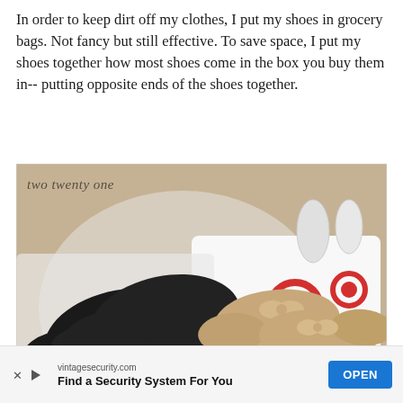In order to keep dirt off my clothes, I put my shoes in grocery bags. Not fancy but still effective. To save space, I put my shoes together how most shoes come in the box you buy them in-- putting opposite ends of the shoes together.
[Figure (photo): Photo of two pairs of shoes (black heels and beige/nude flats) placed in white Target grocery bags on a carpeted floor. A watermark reading 'two twenty one' appears in the top left corner of the image.]
vintagesecurity.com Find a Security System For You OPEN